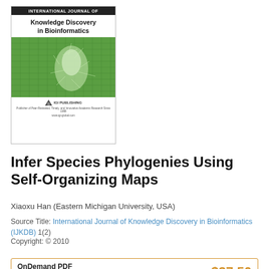[Figure (illustration): Journal cover for International Journal of Knowledge Discovery in Bioinformatics, showing a dark header banner, bold journal title, a green textured bioinformatics illustration, and IGI Publishing logo at the bottom.]
Infer Species Phylogenies Using Self-Organizing Maps
Xiaoxu Han (Eastern Michigan University, USA)
Source Title: International Journal of Knowledge Discovery in Bioinformatics (IJKDB) 1(2)
Copyright: © 2010
Pages: 21
DOI: 10.4018/jkdb.2010040103
OnDemand PDF Download: $37.50